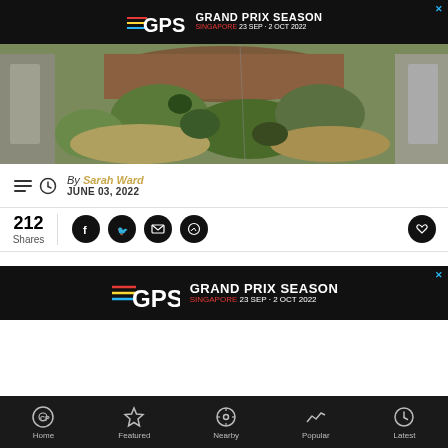[Figure (advertisement): GPSS Grand Prix Season Singapore 23 Sep - 2 Oct 2022 banner ad on black background]
[Figure (photo): Aerial drone photo of a green landscape with a brown water channel, roads visible on left and right sides]
By Sarah Ward
JUNE 03, 2022
212 Shares
[Figure (advertisement): GPSS Grand Prix Season Singapore 23 Sep - 2 Oct 2022 banner ad on black background]
[Figure (other): Bottom navigation bar with Home, Featured, Nearby, Popular, Latest icons on dark background]